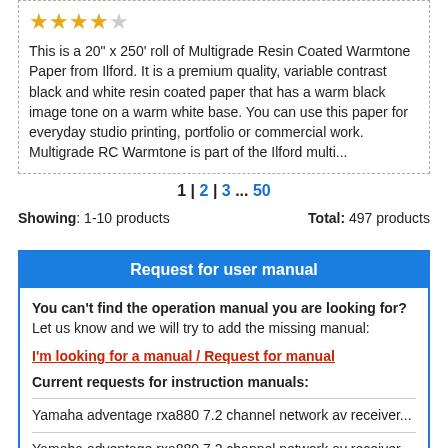[Figure (other): 4 out of 5 stars rating (4 gold stars, 1 empty star)]
This is a 20" x 250' roll of Multigrade Resin Coated Warmtone Paper from Ilford. It is a premium quality, variable contrast black and white resin coated paper that has a warm black image tone on a warm white base. You can use this paper for everyday studio printing, portfolio or commercial work. Multigrade RC Warmtone is part of the Ilford multi...
1 | 2 | 3 ... 50
Showing: 1-10 products    Total: 497 products
Request for user manual
You can't find the operation manual you are looking for? Let us know and we will try to add the missing manual:
I'm looking for a manual / Request for manual
Current requests for instruction manuals:
Yamaha adventage rxa880 7.2 channel network av receiver...
Yamaha adventage rxa880 7.2 channel network av receiver...
Walrus Fathon reverb Pedal owner`s manual...
Philips Hue Go